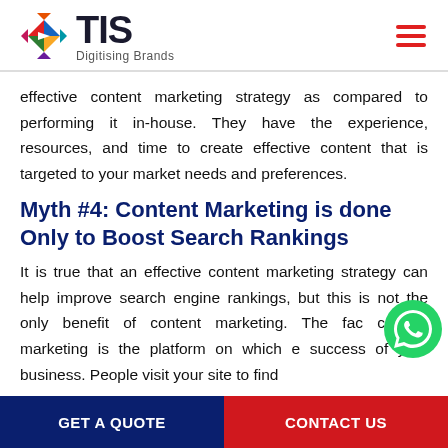TIS Digitising Brands
effective content marketing strategy as compared to performing it in-house. They have the experience, resources, and time to create effective content that is targeted to your market needs and preferences.
Myth #4: Content Marketing is done Only to Boost Search Rankings
It is true that an effective content marketing strategy can help improve search engine rankings, but this is not the only benefit of content marketing. The fact content marketing is the platform on which e success of your business. People visit your site to find
GET A QUOTE    CONTACT US